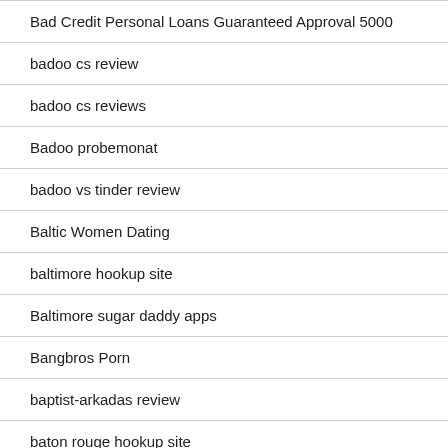Bad Credit Personal Loans Guaranteed Approval 5000
badoo cs review
badoo cs reviews
Badoo probemonat
badoo vs tinder review
Baltic Women Dating
baltimore hookup site
Baltimore sugar daddy apps
Bangbros Porn
baptist-arkadas review
baton rouge hookup site